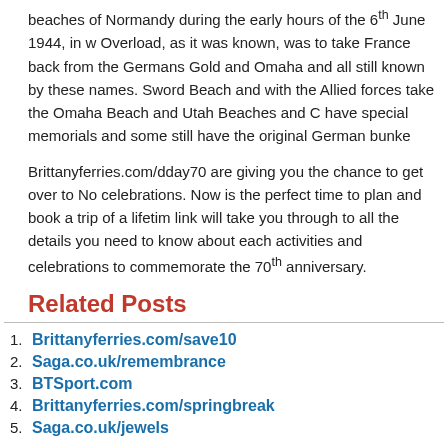beaches of Normandy during the early hours of the 6th June 1944, in w Overload, as it was known, was to take France back from the Germans Gold and Omaha and all still known by these names. Sword Beach and with the Allied forces take the Omaha Beach and Utah Beaches and C have special memorials and some still have the original German bunke
Brittanyferries.com/dday70 are giving you the chance to get over to No celebrations. Now is the perfect time to plan and book a trip of a lifetim link will take you through to all the details you need to know about each activities and celebrations to commemorate the 70th anniversary.
Related Posts
Brittanyferries.com/save10
Saga.co.uk/remembrance
BTSport.com
Brittanyferries.com/springbreak
Saga.co.uk/jewels